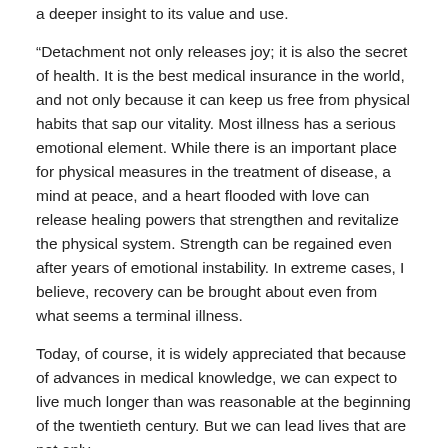a deeper insight to its value and use.
“Detachment not only releases joy; it is also the secret of health. It is the best medical insurance in the world, and not only because it can keep us free from physical habits that sap our vitality. Most illness has a serious emotional element. While there is an important place for physical measures in the treatment of disease, a mind at peace, and a heart flooded with love can release healing powers that strengthen and revitalize the physical system. Strength can be regained even after years of emotional instability. In extreme cases, I believe, recovery can be brought about even from what seems a terminal illness.
Today, of course, it is widely appreciated that because of advances in medical knowledge, we can expect to live much longer than was reasonable at the beginning of the twentieth century. But we can lead lives that are not only